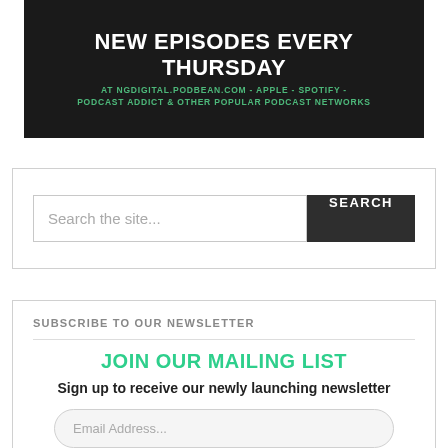[Figure (other): Dark banner image with text: 'NEW EPISODES EVERY THURSDAY' in white bold uppercase, and 'AT NGDIGITAL.PODBEAN.COM - APPLE - SPOTIFY - PODCAST ADDICT & OTHER POPULAR PODCAST NETWORKS' in green uppercase text below.]
Search the site...
SUBSCRIBE TO OUR NEWSLETTER
JOIN OUR MAILING LIST
Sign up to receive our newly launching newsletter